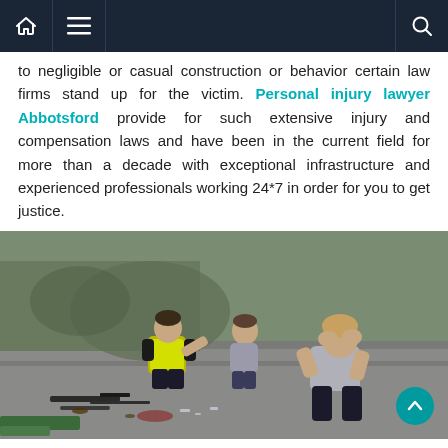Navigation bar with home, menu, and search icons
to negligible or casual construction or behavior certain law firms stand up for the victim. Personal injury lawyer Abbotsford provide for such extensive injury and compensation laws and have been in the current field for more than a decade with exceptional infrastructure and experienced professionals working 24*7 in order for you to get justice.
[Figure (photo): Photo of a road accident scene: a person in a yellow high-visibility vest kneeling to assist an injured person sitting on the ground, while another woman in the foreground sits distressed with her hands covering her face, talking on a phone. Debris and tools are scattered on the road.]